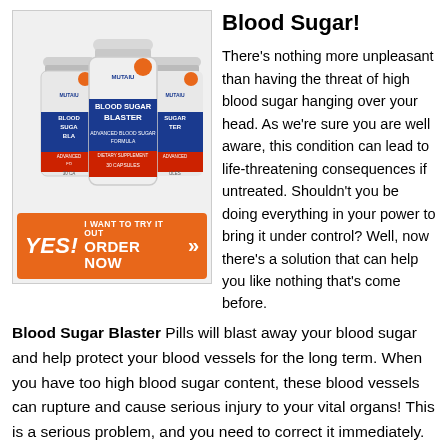[Figure (photo): Three bottles of Blood Sugar Blaster dietary supplement (30 capsules each), white bottles with blue and red labels showing brand name MUTAIU and product name BLOOD SUGAR BLASTER, arranged in a triangular grouping on a light background, with an orange 'YES! I WANT TO TRY IT OUT ORDER NOW' call-to-action button below]
Blood Sugar!
There's nothing more unpleasant than having the threat of high blood sugar hanging over your head. As we're sure you are well aware, this condition can lead to life-threatening consequences if untreated. Shouldn't you be doing everything in your power to bring it under control? Well, now there's a solution that can help you like nothing that's come before. Blood Sugar Blaster Pills will blast away your blood sugar and help protect your blood vessels for the long term. When you have too high blood sugar content, these blood vessels can rupture and cause serious injury to your vital organs! This is a serious problem, and you need to correct it immediately. And, on this website, a low healthcare budget is no excuse. Click any of these images right now to get the best Blood Sugar Blaster Price!